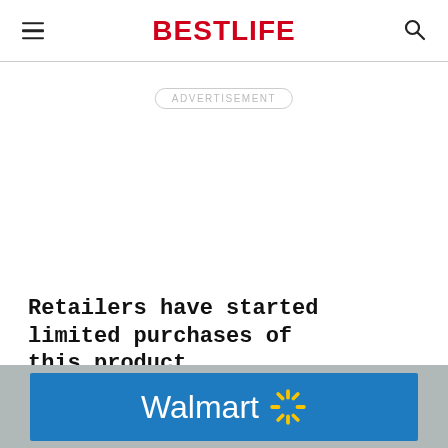BESTLIFE
ADVERTISEMENT
Retailers have started limited purchases of this product.
[Figure (photo): Walmart store exterior with blue sign and Walmart logo with spark symbol]